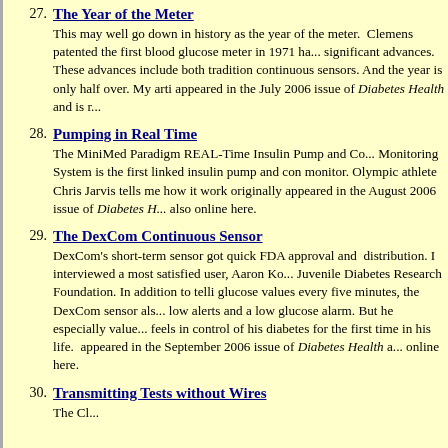27. The Year of the Meter
This may well go down in history as the year of the meter. Clemens patented the first blood glucose meter in 1971 ha... significant advances. These advances include both traditional continuous sensors. And the year is only half over. My arti appeared in the July 2006 issue of Diabetes Health and is r...
28. Pumping in Real Time
The MiniMed Paradigm REAL-Time Insulin Pump and Co... Monitoring System is the first linked insulin pump and con monitor. Olympic athlete Chris Jarvis tells me how it work originally appeared in the August 2006 issue of Diabetes H... also online here.
29. The DexCom Continuous Sensor
DexCom's short-term sensor got quick FDA approval and distribution. I interviewed a most satisfied user, Aaron Ko... Juvenile Diabetes Research Foundation. In addition to telli glucose values every five minutes, the DexCom sensor also low alerts and a low glucose alarm. But he especially value feels in control of his diabetes for the first time in his life. appeared in the September 2006 issue of Diabetes Health a... online here.
30. Transmitting Tests without Wires
The Cl...